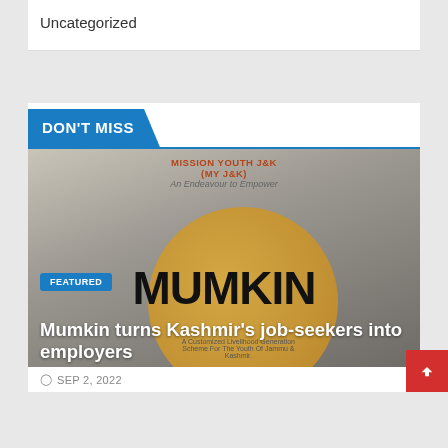Uncategorized
DON'T MISS
[Figure (photo): Article thumbnail showing Mission Youth J&K (MY J&K) Mumkin scheme promotional image with gold circle logo and MUMKIN text, overlaid with FEATURED badge and article title 'Mumkin turns Kashmir’s job-seekers into employers']
SEP 2, 2022